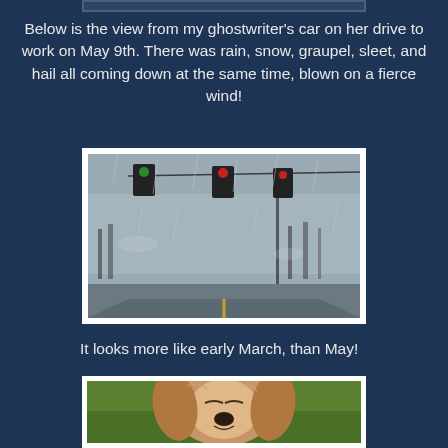[Figure (photo): Partial view of a photo at the top of the page, mostly cropped]
Below is the view from my ghostwriter's car on her drive to work on May 9th. There was rain, snow, graupel, sleet, and hail all coming down at the same time, blown on a fierce wind!
[Figure (photo): View from inside a car through a wet windshield at a rainy, stormy intersection with traffic lights hanging over the road, trees barely visible in the foggy background]
It looks more like early March, than May!
[Figure (photo): Close-up photo of a golden/blonde Cocker Spaniel dog with eyes closed, lying in green grass]